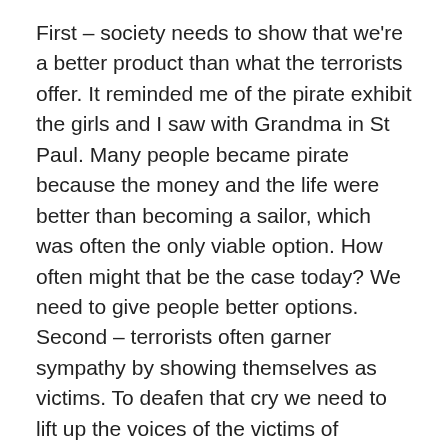First – society needs to show that we're a better product than what the terrorists offer. It reminded me of the pirate exhibit the girls and I saw with Grandma in St Paul. Many people became pirate because the money and the life were better than becoming a sailor, which was often the only viable option. How often might that be the case today? We need to give people better options. Second – terrorists often garner sympathy by showing themselves as victims. To deafen that cry we need to lift up the voices of the victims of terrorism. Partially that means finding a platform for the victims to tell their story – that also means taking better care of the victims. His talk was very powerful – a dramatic bomb went off during the talk – you have to watch the talk to see what I mean.
Jayne McGonigal was amazing for at least two reasons. First – well she just is. Second – she gave her talk in fits